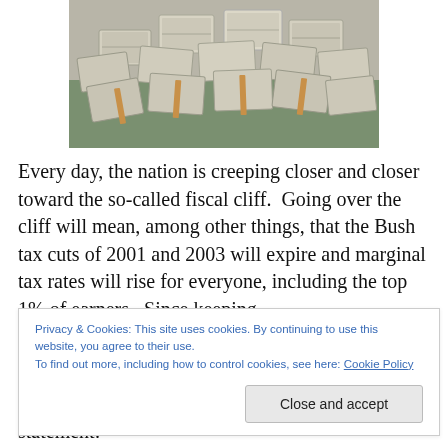[Figure (photo): Pile of stacked US dollar bills/banknotes on a surface]
Every day, the nation is creeping closer and closer toward the so-called fiscal cliff.  Going over the cliff will mean, among other things, that the Bush tax cuts of 2001 and 2003 will expire and marginal tax rates will rise for everyone, including the top 1% of earners.  Since keeping the low tax rates on the top 1% isn't very popular with
Privacy & Cookies: This site uses cookies. By continuing to use this website, you agree to their use.
To find out more, including how to control cookies, see here: Cookie Policy
1%.  Today, PETRA has released the following statement: